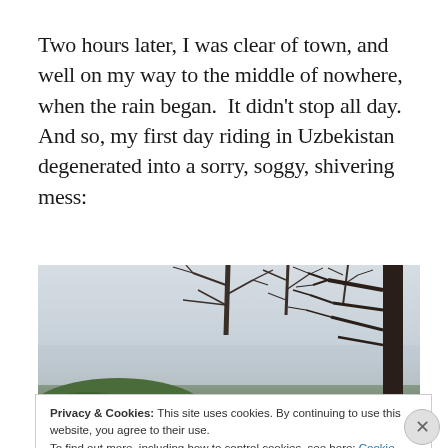Two hours later, I was clear of town, and well on my way to the middle of nowhere, when the rain began.  It didn't stop all day.  And so, my first day riding in Uzbekistan degenerated into a sorry, soggy, shivering mess:
[Figure (photo): A rainy, grey-sky scene with bare tree branches in the upper portion against an overcast sky, a tall dark tree trunk on the right, and green shrubs/bushes visible at the lower left.]
Privacy & Cookies: This site uses cookies. By continuing to use this website, you agree to their use.
To find out more, including how to control cookies, see here: Cookie Policy